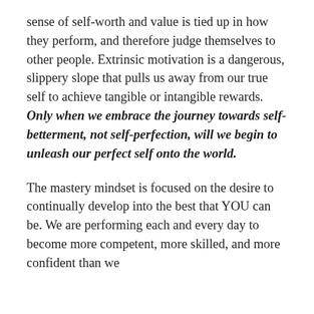sense of self-worth and value is tied up in how they perform, and therefore judge themselves to other people. Extrinsic motivation is a dangerous, slippery slope that pulls us away from our true self to achieve tangible or intangible rewards. Only when we embrace the journey towards self-betterment, not self-perfection, will we begin to unleash our perfect self onto the world.
The mastery mindset is focused on the desire to continually develop into the best that YOU can be. We are performing each and every day to become more competent, more skilled, and more confident than we